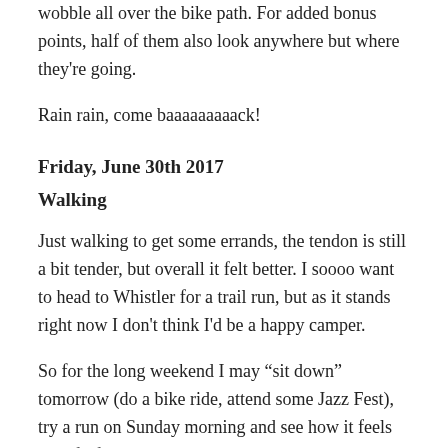wobble all over the bike path. For added bonus points, half of them also look anywhere but where they're going.
Rain rain, come baaaaaaaaack!
Friday, June 30th 2017
Walking
Just walking to get some errands, the tendon is still a bit tender, but overall it felt better. I soooo want to head to Whistler for a trail run, but as it stands right now I don't think I'd be a happy camper.
So for the long weekend I may “sit down” tomorrow (do a bike ride, attend some Jazz Fest), try a run on Sunday morning and see how it feels and if I feel good on